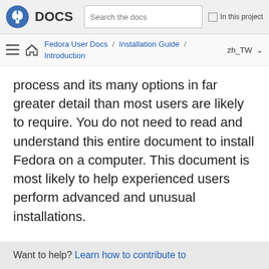Fedora DOCS | Search the docs | In this project
Fedora User Docs / Installation Guide / Introduction | zh_TW
process and its many options in far greater detail than most users are likely to require. You do not need to read and understand this entire document to install Fedora on a computer. This document is most likely to help experienced users perform advanced and unusual installations.
Want to help? Learn how to contribute to